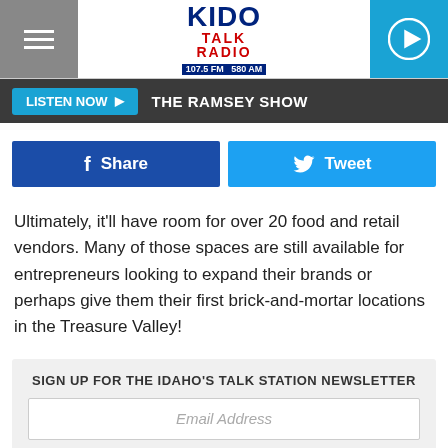KIDO TALK RADIO 107.5 FM 580 AM
LISTEN NOW  THE RAMSEY SHOW
Share  Tweet
Ultimately, it'll have room for over 20 food and retail vendors. Many of those spaces are still available for entrepreneurs looking to expand their brands or perhaps give them their first brick-and-mortar locations in the Treasure Valley!
SIGN UP FOR THE IDAHO'S TALK STATION NEWSLETTER
Email Address
Right now, The Warehouse has 12 tenants excited to